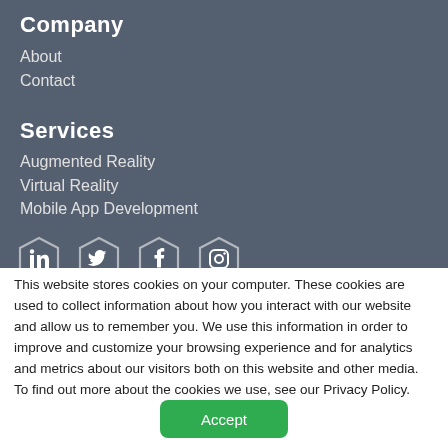Company
About
Contact
Services
Augmented Reality
Virtual Reality
Mobile App Development
[Figure (illustration): Row of four social media icons (LinkedIn, Twitter, Facebook, Instagram) in hexagonal/shield shapes with white outlines on dark background]
This website stores cookies on your computer. These cookies are used to collect information about how you interact with our website and allow us to remember you. We use this information in order to improve and customize your browsing experience and for analytics and metrics about our visitors both on this website and other media. To find out more about the cookies we use, see our Privacy Policy.
Accept